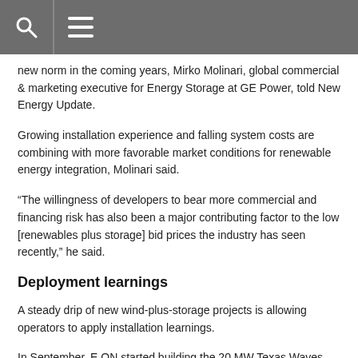[search icon] [menu icon]
new norm in the coming years, Mirko Molinari, global commercial & marketing executive for Energy Storage at GE Power, told New Energy Update.
Growing installation experience and falling system costs are combining with more favorable market conditions for renewable energy integration, Molinari said.
“The willingness of developers to bear more commercial and financing risk has also been a major contributing factor to the low [renewables plus storage] bid prices the industry has seen recently,” he said.
Deployment learnings
A steady drip of new wind-plus-storage projects is allowing operators to apply installation learnings.
In September, E.ON started building the 20 MW Texas Waves energy storage projects, consisting of two 10 MW lithium ion LG Chem energy storage systems at the operational Pyron and Inadale windfarms in West